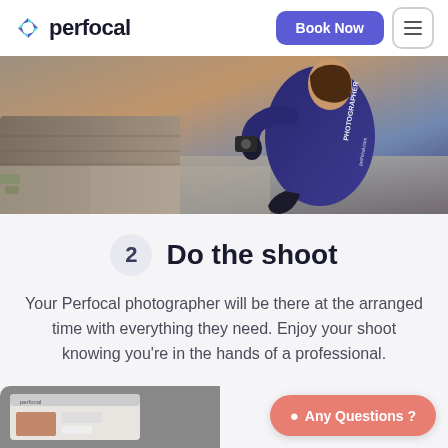perfocal
[Figure (photo): A photographer in a navy blue jacket crouching and taking a photo outdoors near stone steps]
2  Do the shoot
Your Perfocal photographer will be there at the arranged time with everything they need. Enjoy your shoot knowing you're in the hands of a professional.
[Figure (screenshot): Partial view of a laptop or tablet screen showing Perfocal website]
Any Questions ?